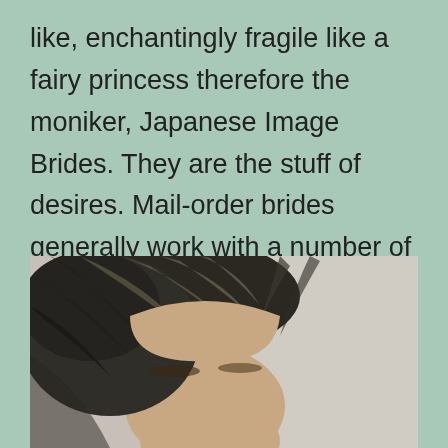like, enchantingly fragile like a fairy princess therefore the moniker, Japanese Image Brides. They are the stuff of desires. Mail-order brides generally work with a number of reputed worldwide marriage agencies. International marriage agencies are international marriage brokers and international introduction businesses.
[Figure (photo): Close-up photograph of a woman's face and hair, showing dark hair with lighter highlights, forehead visible, cropped at bottom.]